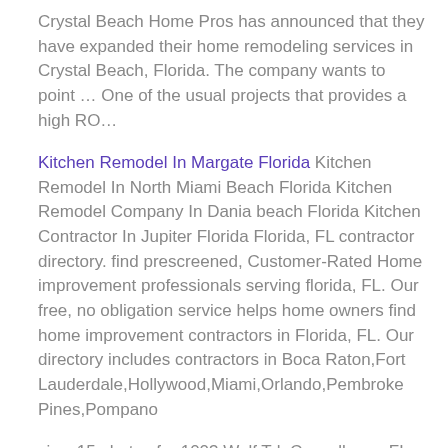Crystal Beach Home Pros has announced that they have expanded their home remodeling services in Crystal Beach, Florida. The company wants to point … One of the usual projects that provides a high RO…
Kitchen Remodel In Margate Florida Kitchen Remodel In North Miami Beach Florida Kitchen Remodel Company In Dania beach Florida Kitchen Contractor In Jupiter Florida Florida, FL contractor directory. find prescreened, Customer-Rated Home improvement professionals serving florida, FL. Our free, no obligation service helps home owners find home improvement contractors in Florida, FL. Our directory includes contractors in Boca Raton,Fort Lauderdale,Hollywood,Miami,Orlando,Pembroke Pines,Pompano
view 15 photos for 1003 Wolf Trl, Casselberry, FL 32707 a 3 bed, 2 bath, 1,300 Sq. ft. single family home built